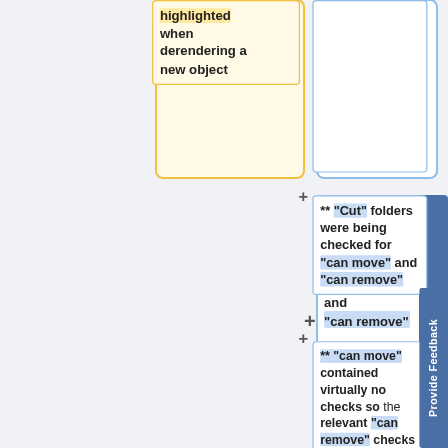[Figure (flowchart): Partial flowchart/diff view showing two columns of cards. Left column has a yellow card with text 'highlighted when derendering a new object'. Right column has a light blue empty card at top, then a blue card with '** "Cut" folders were being checked for "can move" and "can remove"', then a blue card with '** "can move" contained virtually no checks so the relevant "can remove" checks were moved over and the "can remove" condition dropped'. Plus signs appear between cards on the right. A 'Provide Feedback' tab is on the far right edge. Partial bottom cards are visible.]